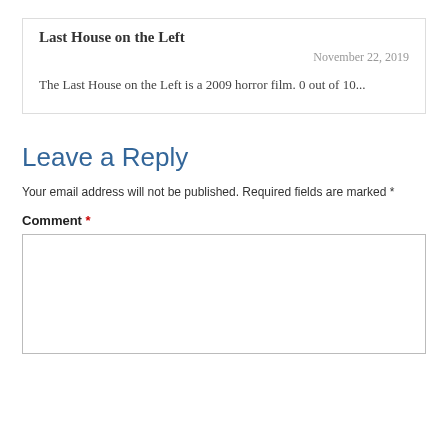Last House on the Left
November 22, 2019
The Last House on the Left is a 2009 horror film. 0 out of 10...
Leave a Reply
Your email address will not be published. Required fields are marked *
Comment *